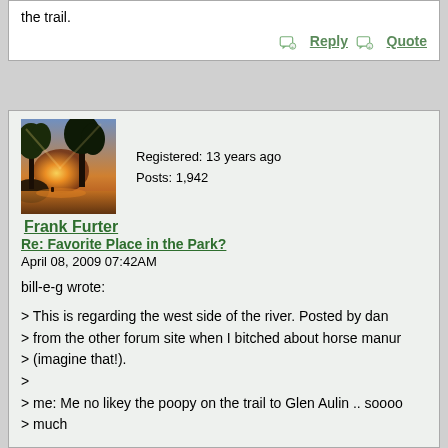the trail.
Reply   Quote
[Figure (photo): Landscape painting/photo showing trees with golden light and a river scene]
Frank Furter
Registered: 13 years ago
Posts: 1,942
Re: Favorite Place in the Park?
April 08, 2009 07:42AM
bill-e-g wrote:

> This is regarding the west side of the river. Posted by dan
> from the other forum site when I bitched about horse manur
> (imagine that!).
>
> me: Me no likey the poopy on the trail to Glen Aulin .. soooo
> much